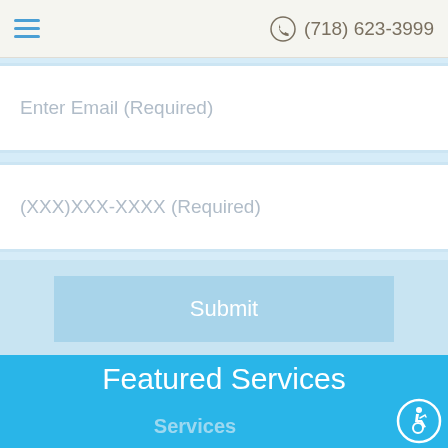(718) 623-3999
Enter Email (Required)
(XXX)XXX-XXXX (Required)
Submit
Featured Services
Services